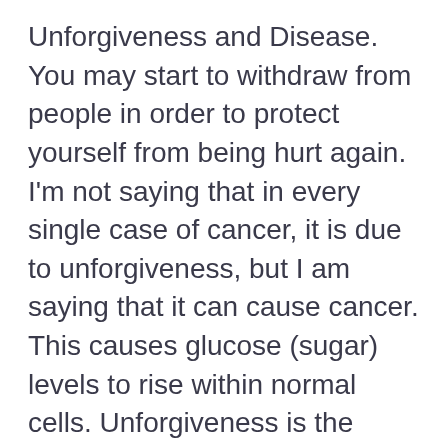Unforgiveness and Disease. You may start to withdraw from people in order to protect yourself from being hurt again. I'm not saying that in every single case of cancer, it is due to unforgiveness, but I am saying that it can cause cancer. This causes glucose (sugar) levels to rise within normal cells. Unforgiveness is the single most popular poison that the enemy uses against God's people, and it is one of the deadliest poisons a person can take spiritually. Unforgiveness may have made you irritable, causing you to treat others poorly. Ephesians 4:31 Get rid of your bitterness, hot tempers, anger, loud quarreling, cursing, and hatred. The main causes of unforgiveness in marriage!